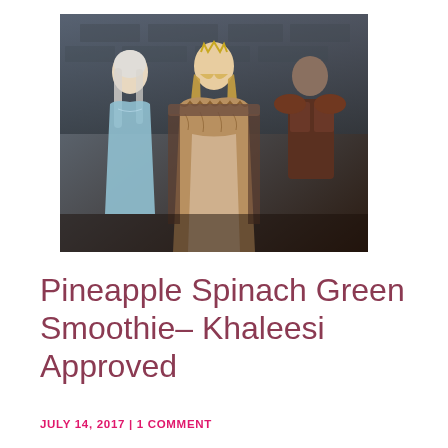[Figure (photo): Three characters from Game of Thrones: a woman in a light blue gown with silver hair on the left, a woman with long blonde wavy hair wearing a fur-trimmed robe seated in the center, and an armored figure on the right, posed against a stone castle backdrop.]
Pineapple Spinach Green Smoothie– Khaleesi Approved
JULY 14, 2017 | 1 COMMENT